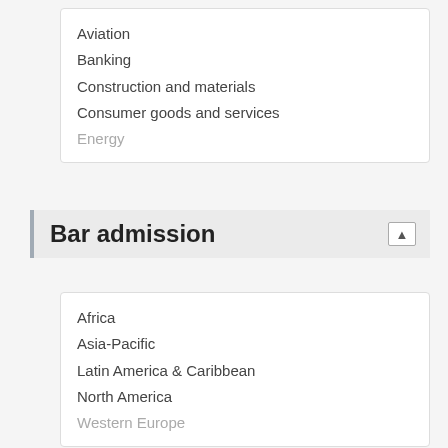Aviation
Banking
Construction and materials
Consumer goods and services
Energy (partially visible)
Bar admission
Africa
Asia-Pacific
Latin America & Caribbean
North America
Western Europe (partially visible)
Showing 1 - 10 of 240 for "Simpson Thacher & Bartlett" with applied filters
IFLR1000 United States Awards - winners announced
News & Analysis
September 2020 by Ben Naylor
the deals, firms, lawyers and teams
This site uses cookies. More info & options
If you're happy with cookies, click Proceed or simply continue browsing
Proceed